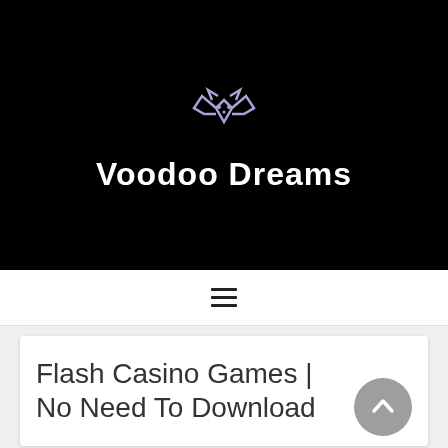[Figure (logo): Voodoo Dreams casino logo: a purple bat-like mascot icon above the white bold text 'Voodoo Dreams' on a black background]
Flash Casino Games | No Need To Download